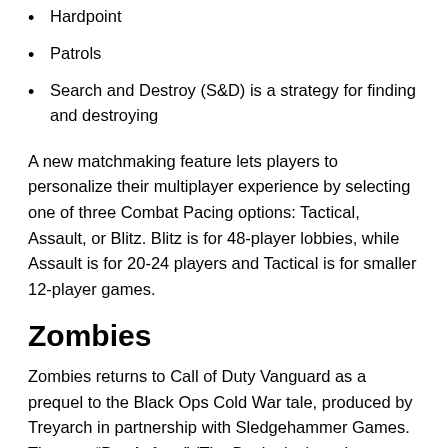Hardpoint
Patrols
Search and Destroy (S&D) is a strategy for finding and destroying
A new matchmaking feature lets players to personalize their multiplayer experience by selecting one of three Combat Pacing options: Tactical, Assault, or Blitz. Blitz is for 48-player lobbies, while Assault is for 20-24 players and Tactical is for smaller 12-player games.
Zombies
Zombies returns to Call of Duty Vanguard as a prequel to the Black Ops Cold War tale, produced by Treyarch in partnership with Sledgehammer Games. The new “Der Anfang” (The Beginning) mode combines aspects of multi-